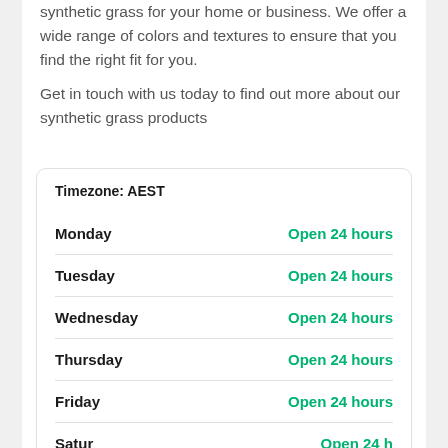synthetic grass for your home or business. We offer a wide range of colors and textures to ensure that you find the right fit for you.
Get in touch with us today to find out more about our synthetic grass products
| Day | Hours |
| --- | --- |
| Monday | Open 24 hours |
| Tuesday | Open 24 hours |
| Wednesday | Open 24 hours |
| Thursday | Open 24 hours |
| Friday | Open 24 hours |
| Saturday | Open 24 hours |